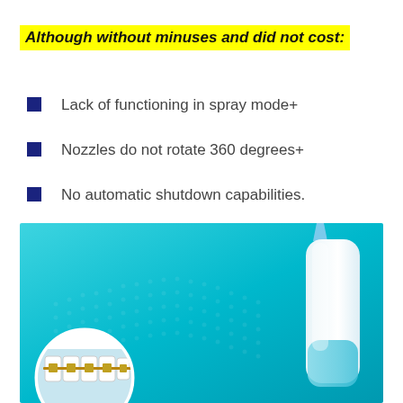Although without minuses and did not cost:
Lack of functioning in spray mode+
Nozzles do not rotate 360 degrees+
No automatic shutdown capabilities.
[Figure (photo): Water flosser / oral irrigator device shown against a bright teal/cyan background with decorative dot pattern. A dental/braces close-up image is shown in a circular frame at the bottom left.]